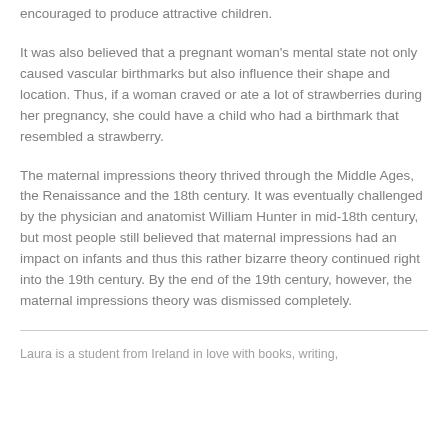encouraged to produce attractive children.
It was also believed that a pregnant woman's mental state not only caused vascular birthmarks but also influence their shape and location. Thus, if a woman craved or ate a lot of strawberries during her pregnancy, she could have a child who had a birthmark that resembled a strawberry.
The maternal impressions theory thrived through the Middle Ages, the Renaissance and the 18th century. It was eventually challenged by the physician and anatomist William Hunter in mid-18th century, but most people still believed that maternal impressions had an impact on infants and thus this rather bizarre theory continued right into the 19th century. By the end of the 19th century, however, the maternal impressions theory was dismissed completely.
Laura is a student from Ireland in love with books, writing,